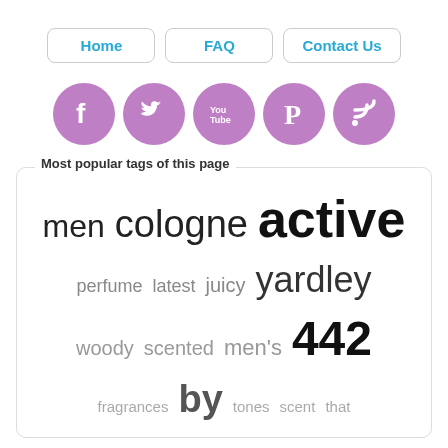[Figure (other): Navigation bar with three buttons: Home, FAQ, Contact Us]
[Figure (other): Row of five purple circular social media icons: Facebook, Twitter, YouTube, Pinterest, RSS]
Most popular tags of this page
men cologne active perfume latest juicy yardley woody scented men's 442 fragrances by tones scent that